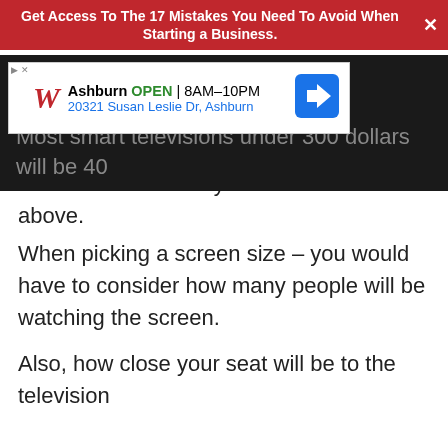[Figure (screenshot): Red banner advertisement: 'Get Access To The 17 Mistakes You Need To Avoid When Starting a Business.' with a close X button]
[Figure (screenshot): Dark overlay background area with Walgreens ad box showing: Ashburn OPEN 8AM-10PM, 20321 Susan Leslie Dr, Ashburn]
Most smart televisions under 300 dollars will be 40 inches or below but you can still find a few above.
When picking a screen size – you would have to consider how many people will be watching the screen.
Also, how close your seat will be to the television should be one of the factors you consider in how big it has to be for a good viewing experience.
The wall space available or table space if it is a